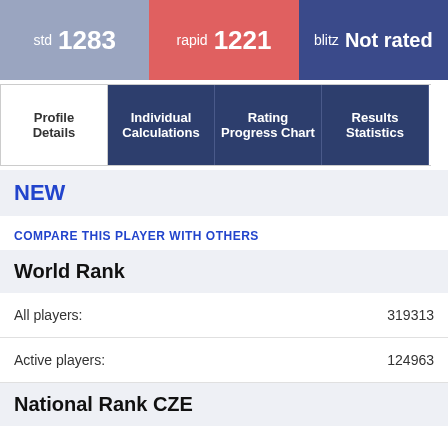std 1283
rapid 1221
blitz Not rated
Profile Details
Individual Calculations
Rating Progress Chart
Results Statistics
NEW
COMPARE THIS PLAYER WITH OTHERS
World Rank
All players: 319313
Active players: 124963
National Rank CZE